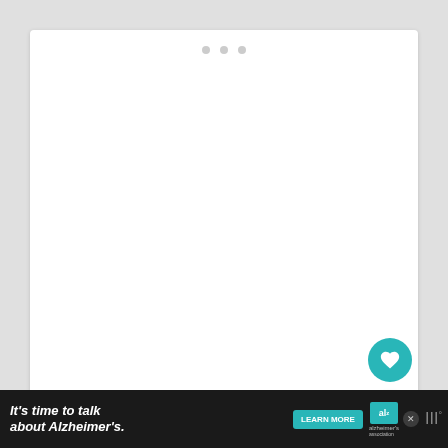[Figure (screenshot): White card UI element with three gray dots at top center, representing a media player or slideshow indicator]
[Figure (screenshot): Teal circular FAB button with heart icon]
[Figure (screenshot): White circular FAB button with share icon]
[Figure (screenshot): What's Next card showing RV Podcast #360: RV Air... with thumbnail]
[Figure (screenshot): Advertisement banner: It's time to talk about Alzheimer's. LEARN MORE. Alzheimer's Association logo.]